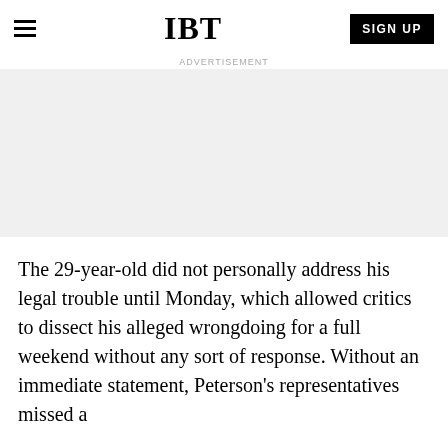IBT
[Figure (other): Advertisement placeholder area with light gray background]
The 29-year-old did not personally address his legal trouble until Monday, which allowed critics to dissect his alleged wrongdoing for a full weekend without any sort of response. Without an immediate statement, Peterson's representatives missed a